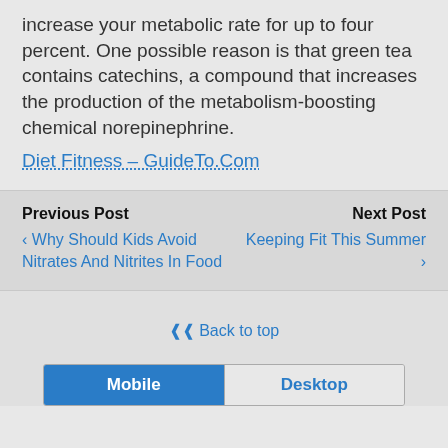increase your metabolic rate for up to four percent. One possible reason is that green tea contains catechins, a compound that increases the production of the metabolism-boosting chemical norepinephrine.
Diet Fitness – GuideTo.Com
Previous Post
‹ Why Should Kids Avoid Nitrates And Nitrites In Food
Next Post
Keeping Fit This Summer ›
❯❯ Back to top
Mobile  Desktop